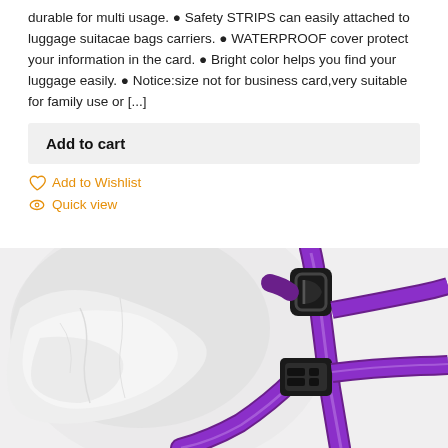durable for multi usage. ● Safety STRIPS can easily attached to luggage suitacae bags carriers. ● WATERPROOF cover protect your information in the card. ● Bright color helps you find your luggage easily. ● Notice:size not for business card,very suitable for family use or [...]
Add to cart
Add to Wishlist
Quick view
[Figure (photo): Product photo showing a purple dog harness with black buckle clasp against a white background]